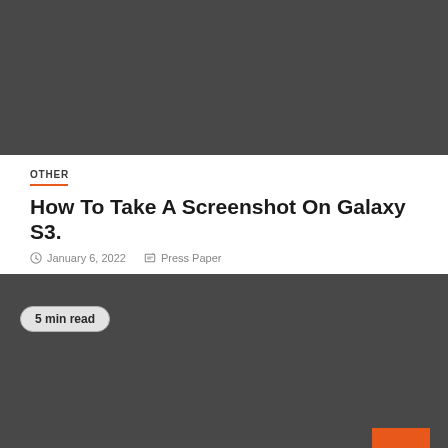[Figure (photo): Dark gray rectangular image block at top of page (placeholder/header image)]
OTHER
How To Take A Screenshot On Galaxy S3.
January 6, 2022   Press Paper
[Figure (photo): Dark gray rectangular image block in lower portion of page with '5 min read' badge and orange back-to-top button]